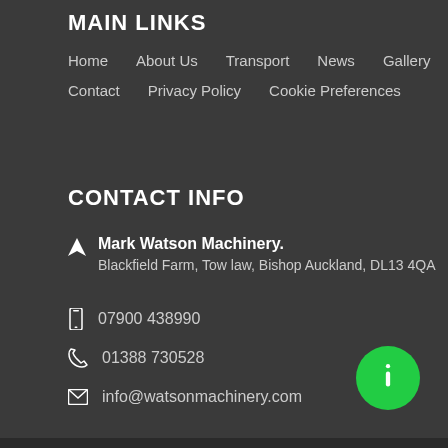MAIN LINKS
Home
About Us
Transport
News
Gallery
Contact
Privacy Policy
Cookie Preferences
CONTACT INFO
Mark Watson Machinery. Blackfield Farm, Tow law, Bishop Auckland, DL13 4QA
07900 438990
01388 730528
info@watsonmachinery.com